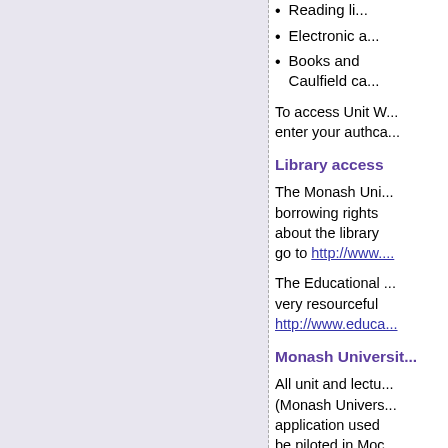[Figure (other): Left panel with light purple/lavender background, blank content area]
Reading li...
Electronic a...
Books and ... Caulfield ca...
To access Unit W... enter your authca...
Library access
The Monash Uni... borrowing rights ... about the library ... go to http://www....
The Educational ... very resourceful ... http://www.educa...
Monash Universit...
All unit and lectu... (Monash Univers... application used ... be piloted in Moc... see a link from u...